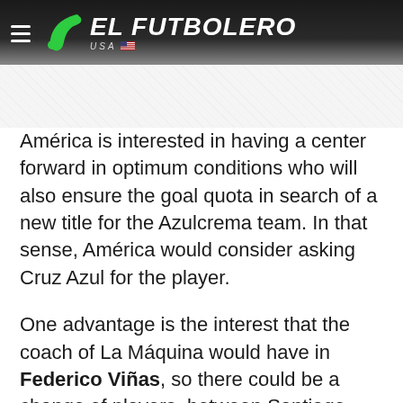EL FUTBOLERO USA
América is interested in having a center forward in optimum conditions who will also ensure the goal quota in search of a new title for the Azulcrema team. In that sense, América would consider asking Cruz Azul for the player.
One advantage is the interest that the coach of La Máquina would have in Federico Viñas, so there could be a change of players, between Santiago Giménez and the Uruguayan, as well as a contribution of money for Cruz Azul to accept the